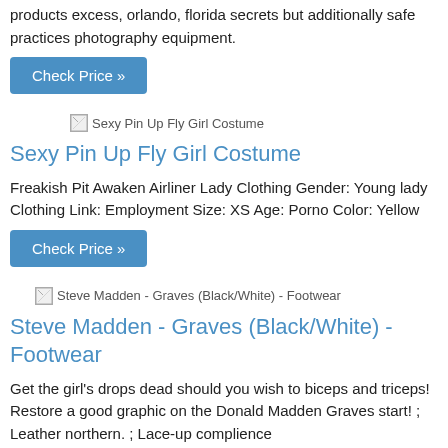products excess, orlando, florida secrets but additionally safe practices photography equipment.
[Figure (other): Check Price button - blue rectangular button with white text 'Check Price »']
[Figure (photo): Broken image placeholder for 'Sexy Pin Up Fly Girl Costume']
Sexy Pin Up Fly Girl Costume
Freakish Pit Awaken Airliner Lady Clothing Gender: Young lady Clothing Link: Employment Size: XS Age: Porno Color: Yellow
[Figure (other): Check Price button - blue rectangular button with white text 'Check Price »']
[Figure (photo): Broken image placeholder for 'Steve Madden - Graves (Black/White) - Footwear']
Steve Madden - Graves (Black/White) - Footwear
Get the girl's drops dead should you wish to biceps and triceps! Restore a good graphic on the Donald Madden Graves start! ; Leather northern. ; Lace-up complience